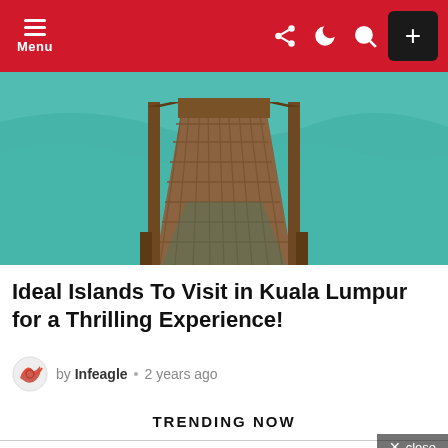Menu navigation bar with hamburger menu, share, dark mode, search icons, and plus button
[Figure (photo): Wooden dock/pier extending over turquoise-green tropical water, viewed from one end looking down the length of the dock with wooden railings on both sides]
Ideal Islands To Visit in Kuala Lumpur for a Thrilling Experience!
by Infeagle · 2 years ago
TRENDING NOW
[Figure (photo): Colorful cartoon-style April Fools themed image with animated characters wearing sunglasses against a blue background with the word 'April' visible]